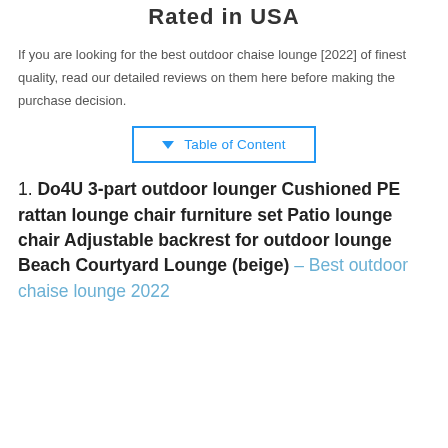Rated in USA
If you are looking for the best outdoor chaise lounge [2022] of finest quality, read our detailed reviews on them here before making the purchase decision.
Table of Content
1. Do4U 3-part outdoor lounger Cushioned PE rattan lounge chair furniture set Patio lounge chair Adjustable backrest for outdoor lounge Beach Courtyard Lounge (beige) – Best outdoor chaise lounge 2022